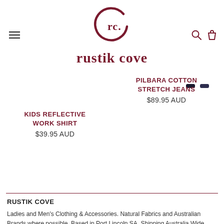[Figure (logo): Rustik Cove logo: circular 'rc.' monogram in dark red above bold serif brand name 'rustik cove' in dark red]
KIDS REFLECTIVE WORK SHIRT $39.95 AUD
PILBARA COTTON STRETCH JEANS $89.95 AUD
RUSTIK COVE
Ladies and Men’s Clothing & Accessories. Natural Fabrics and Australian Brands where possible. Based in Port Lincoln SA. Shipping Australia Wide